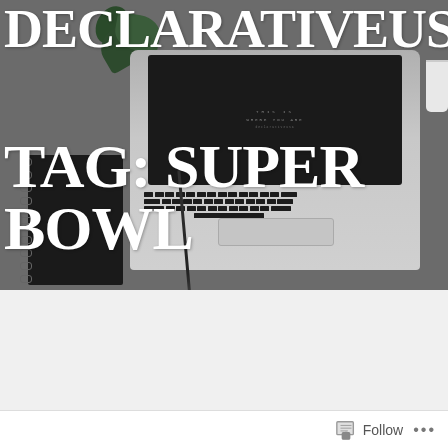[Figure (photo): Hero banner image showing a laptop, notebook, pen, plant, and coffee cup on a gray desk surface]
DECLARATIVEUSA
TAG: SUPER BOWL
FEBRUARY 21, 2013
Follow ...